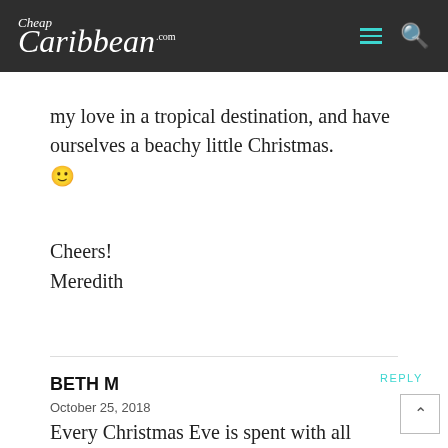Cheap Caribbean .com
my love in a tropical destination, and have ourselves a beachy little Christmas. 🙂
Cheers!
Meredith
REPLY
BETH M
October 25, 2018
Every Christmas Eve is spent with all the family at my parent's house. My mother always cooks up everyone's favorite